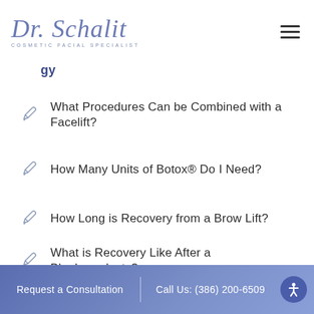Dr. Schalit — Cosmetic Facial Specialist
What Procedures Can be Combined with a Facelift?
How Many Units of Botox® Do I Need?
How Long is Recovery from a Brow Lift?
What is Recovery Like After a Blepharoplasty?
Top 3 Benefits of CoolSculpting® Elite
What are the Benefits of a Neck Lift?
Request a Consultation | Call Us: (386) 200-6509